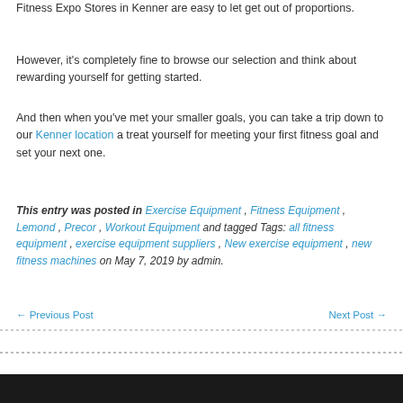Fitness Expo Stores in Kenner are easy to let get out of proportions.
However, it's completely fine to browse our selection and think about rewarding yourself for getting started.
And then when you've met your smaller goals, you can take a trip down to our Kenner location a treat yourself for meeting your first fitness goal and set your next one.
This entry was posted in Exercise Equipment , Fitness Equipment , Lemond , Precor , Workout Equipment and tagged Tags: all fitness equipment , exercise equipment suppliers , New exercise equipment , new fitness machines on May 7, 2019 by admin.
← Previous Post    Next Post →